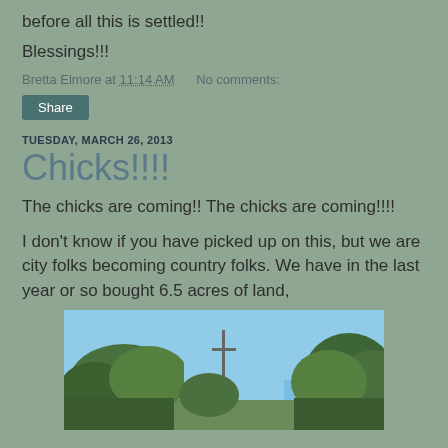before all this is settled!!
Blessings!!!
Bretta Elmore at 11:14 AM   No comments:
Share
TUESDAY, MARCH 26, 2013
Chicks!!!!
The chicks are coming!! The chicks are coming!!!!
I don't know if you have picked up on this, but we are city folks becoming country folks. We have in the last year or so bought 6.5 acres of land,
[Figure (photo): Outdoor photo showing blue sky with trees, appears to be a rural or country property scene.]